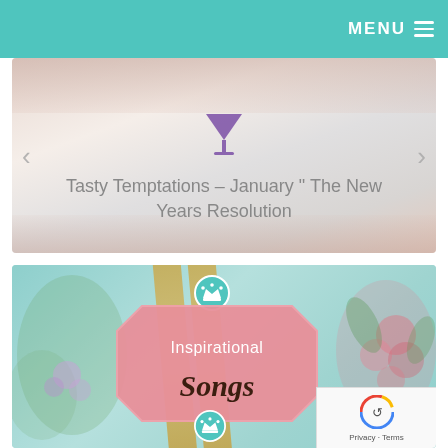MENU ≡
[Figure (screenshot): Decorative floral/silver slideshow banner with martini glass icon and text: Tasty Temptations – January " The New Years Resolution, with left and right navigation arrows]
Tasty Temptations – January " The New Years Resolution
[Figure (illustration): Inspirational Songs decorative card with teal floral background, golden ribbon streaks, pink octagonal badge with crown icon, reading 'Inspirational Songs' in script font, with floral arrangements and reCAPTCHA badge in lower right corner]